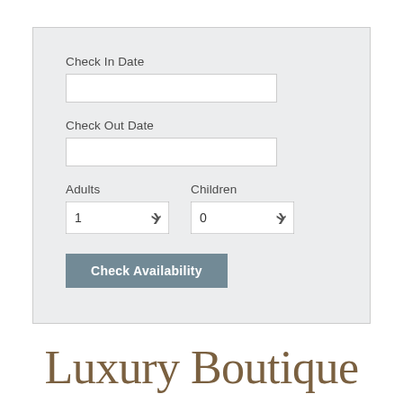[Figure (screenshot): A hotel booking form UI with fields for Check In Date, Check Out Date, Adults dropdown (value: 1), Children dropdown (value: 0), and a 'Check Availability' button, all on a light grey panel background.]
Luxury Boutique